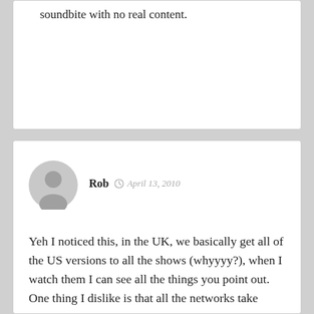soundbite with no real content.
Rob  April 13, 2010
Yeh I noticed this, in the UK, we basically get all of the US versions to all the shows (whyyyy?), when I watch them I can see all the things you point out.
One thing I dislike is that all the networks take British shows and remake them for American audience, either thinking they can take more credit for it or think that their audiences wouldn't understand any